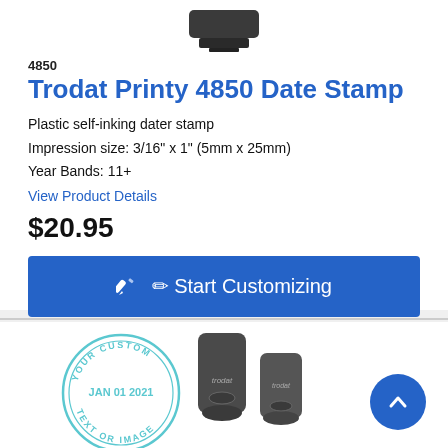[Figure (photo): Partial top view of a Trodat Printy 4850 date stamp, cropped at the top]
4850
Trodat Printy 4850 Date Stamp
Plastic self-inking dater stamp
Impression size: 3/16" x 1" (5mm x 25mm)
Year Bands: 11+
View Product Details
$20.95
Start Customizing
[Figure (photo): Two Trodat self-inking round stamps with a circular custom stamp impression showing 'YOUR CUSTOM JAN 01 2021 TEXT OR IMAGE', and a blue scroll-to-top button]